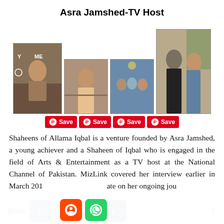Asra Jamshed-TV Host
[Figure (photo): Four photos of Asra Jamshed - TV host. First: woman sitting at a TV desk with 'YOU ME' text visible. Second: woman in colorful dress at a desk. Third: group photo at an event. Fourth: man and woman posing together outdoors.]
Shaheens of Allama Iqbal is a venture founded by Asra Jamshed, a young achiever and a Shaheen of Iqbal who is engaged in the field of Arts & Entertainment as a TV host at the National Channel of Pakistan. MizLink covered her interview earlier in March 201 ate on her ongoing jou